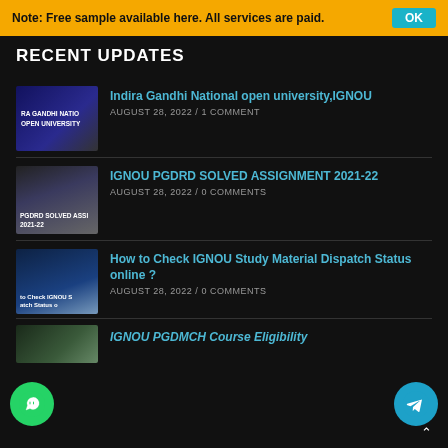Note: Free sample available here. All services are paid.
RECENT UPDATES
[Figure (photo): IGNOU thumbnail with dark blue background and text RA GANDHI NATIO OPEN UNIVERSITY]
Indira Gandhi National open university,IGNOU
AUGUST 28, 2022 / 1 COMMENT
[Figure (photo): PGDRD Solved Assignment 2021-22 thumbnail]
IGNOU PGDRD SOLVED ASSIGNMENT 2021-22
AUGUST 28, 2022 / 0 COMMENTS
[Figure (photo): How to Check IGNOU Study Material Dispatch Status online thumbnail]
How to Check IGNOU Study Material Dispatch Status online ?
AUGUST 28, 2022 / 0 COMMENTS
[Figure (photo): Partial thumbnail of another article]
IGNOU PGDMCH Course Eligibility